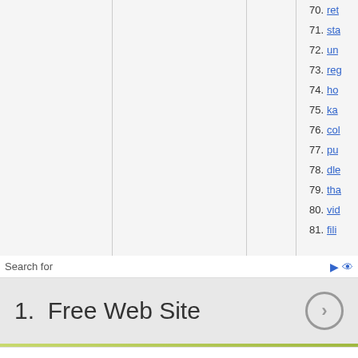70. ret
71. sta
72. un
73. reg
74. ho
75. ka
76. col
77. pu
78. dle
79. tha
80. vid
81. fili
Search for
1.  Free Web Site